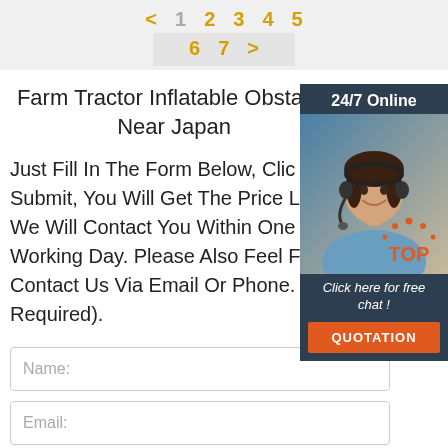< 1 2 3 4 5 6 7 >
Farm Tractor Inflatable Obstacle Near Japan
[Figure (photo): Customer service representative with headset, smiling. Overlay shows 24/7 Online header, 'Click here for free chat!' text, and orange QUOTATION button.]
Just Fill In The Form Below, Click Submit, You Will Get The Price List, We Will Contact You Within One Working Day. Please Also Feel Free To Contact Us Via Email Or Phone. (* Is Required).
[Figure (other): Orange and dark 'TOP' back-to-top button icon]
Name:
Email: